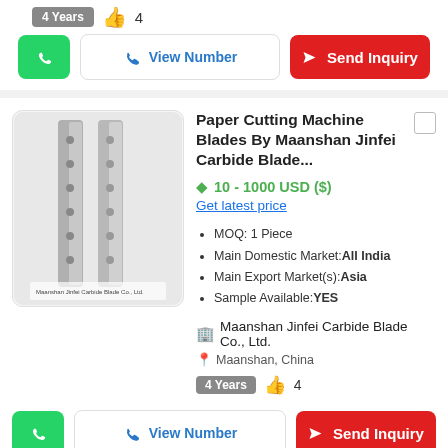4 Years  👍 4
WhatsApp | View Number | Send Inquiry
[Figure (photo): Two paper cutting machine blades, tall and narrow, standing upright against a white background, with company logo at bottom.]
Paper Cutting Machine Blades By Maanshan Jinfei Carbide Blade...
10 - 1000 USD ($)
Get latest price
MOQ: 1 Piece
Main Domestic Market:All India
Main Export Market(s):Asia
Sample Available:YES
Maanshan Jinfei Carbide Blade Co., Ltd.
Maanshan, China
4 Years  👍 4
WhatsApp | View Number | Send Inquiry
Ophthalmic Machine Tonometer Blades By Tahscan Healthcare